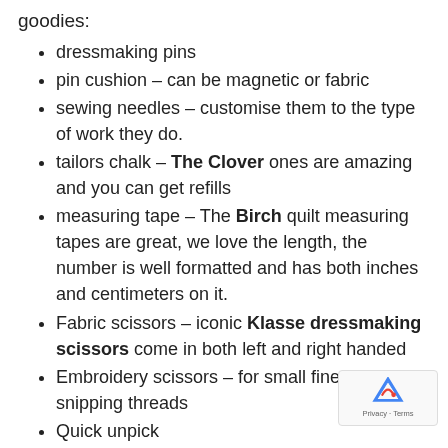goodies:
dressmaking pins
pin cushion – can be magnetic or fabric
sewing needles – customise them to the type of work they do.
tailors chalk – The Clover ones are amazing and you can get refills
measuring tape – The Birch quilt measuring tapes are great, we love the length, the number is well formatted and has both inches and centimeters on it.
Fabric scissors – iconic Klasse dressmaking scissors come in both left and right handed
Embroidery scissors – for small fine work and snipping threads
Quick unpick
good quality thread
thread for the needle/s cont...